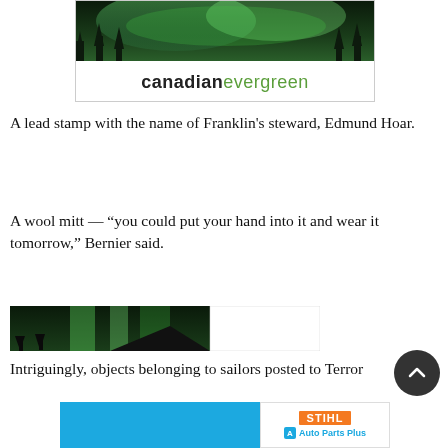[Figure (logo): Canadian Evergreen advertisement banner with northern lights forest image on top and 'canadianevergreen' logo text below, 'canadian' in bold black and 'evergreen' in green]
A lead stamp with the name of Franklin's steward, Edmund Hoar.
A wool mitt — “you could put your hand into it and wear it tomorrow,” Bernier said.
[Figure (photo): Partial photo of northern lights (aurora borealis) over dark forest silhouette, partially cut off on the right side showing white space]
Intriguingly, objects belonging to sailors posted to Terror
[Figure (logo): STIHL and Auto Parts Plus advertisement banner: left side solid cyan/blue, right side white with orange STIHL logo and blue Auto Parts Plus text with icon]